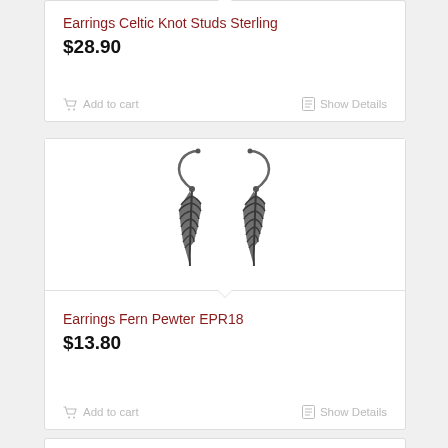Earrings Celtic Knot Studs Sterling
$28.90
Add to cart
Show Details
[Figure (photo): Two dark pewter fern-shaped drop earrings with silver-tone fish hook wires, photographed on white background]
Earrings Fern Pewter EPR18
$13.80
Add to cart
Show Details